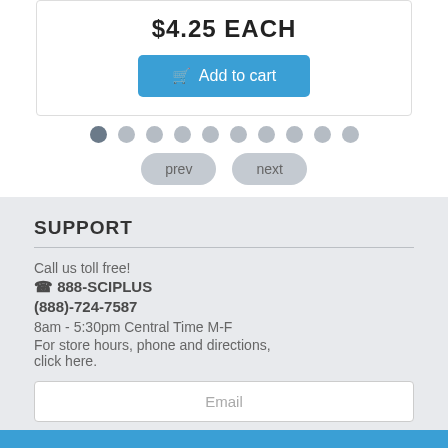$4.25 EACH
Add to cart
[Figure (other): Pagination dots row with 10 circles, first one darker (active), rest light gray]
prev
next
SUPPORT
Call us toll free!
888-SCIPLUS
(888)-724-7587
8am - 5:30pm Central Time M-F
For store hours, phone and directions, click here.
Email